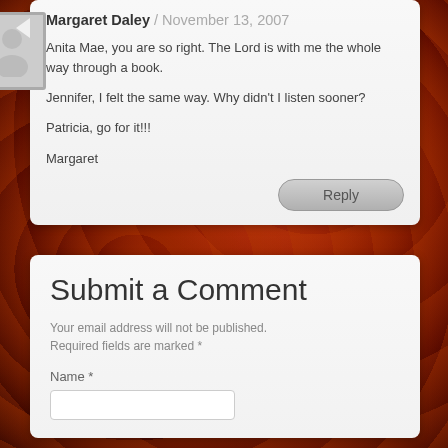Margaret Daley / November 13, 2007
Anita Mae, you are so right. The Lord is with me the whole way through a book.

Jennifer, I felt the same way. Why didn't I listen sooner?

Patricia, go for it!!!

Margaret
Submit a Comment
Your email address will not be published. Required fields are marked *
Name *